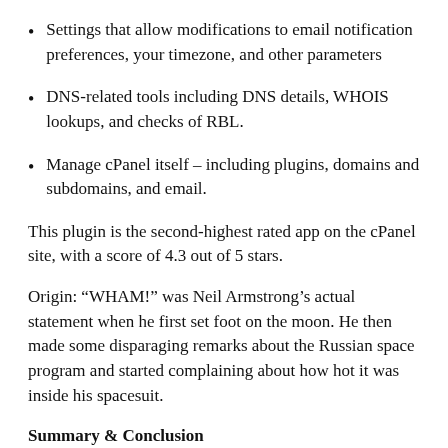Settings that allow modifications to email notification preferences, your timezone, and other parameters
DNS-related tools including DNS details, WHOIS lookups, and checks of RBL.
Manage cPanel itself – including plugins, domains and subdomains, and email.
This plugin is the second-highest rated app on the cPanel site, with a score of 4.3 out of 5 stars.
Origin: “WHAM!” was Neil Armstrong’s actual statement when he first set foot on the moon. He then made some disparaging remarks about the Russian space program and started complaining about how hot it was inside his spacesuit.
Summary & Conclusion